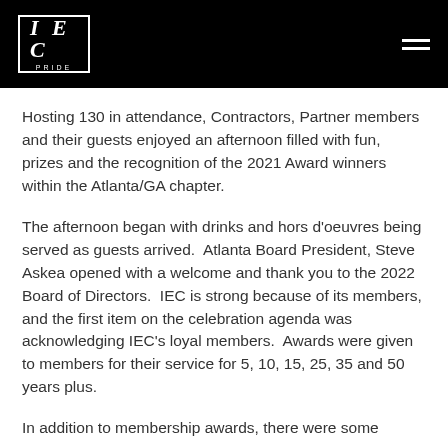IEC PRIDE
Hosting 130 in attendance, Contractors, Partner members and their guests enjoyed an afternoon filled with fun, prizes and the recognition of the 2021 Award winners within the Atlanta/GA chapter.
The afternoon began with drinks and hors d'oeuvres being served as guests arrived.  Atlanta Board President, Steve Askea opened with a welcome and thank you to the 2022 Board of Directors.  IEC is strong because of its members, and the first item on the celebration agenda was acknowledging IEC's loyal members.  Awards were given to members for their service for 5, 10, 15, 25, 35 and 50 years plus.
In addition to membership awards, there were some